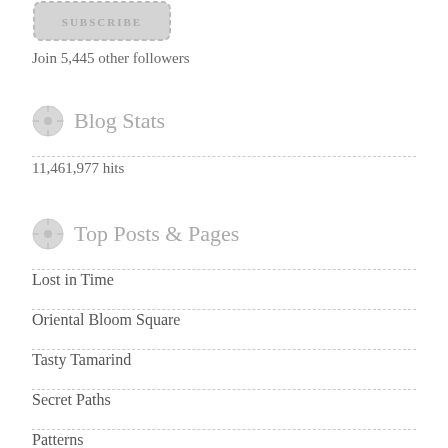[Figure (illustration): Subscribe button with dashed border]
Join 5,445 other followers
Blog Stats
11,461,977 hits
Top Posts & Pages
Lost in Time
Oriental Bloom Square
Tasty Tamarind
Secret Paths
Patterns